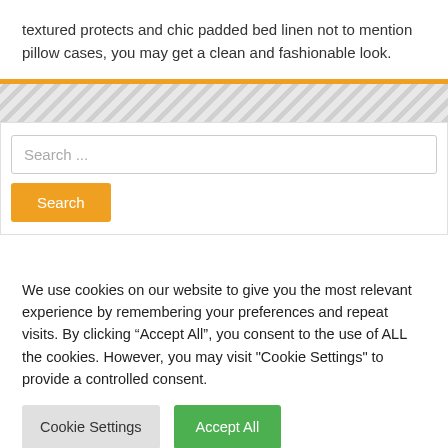textured protects and chic padded bed linen not to mention pillow cases, you may get a clean and fashionable look.
Search ...
Search
We use cookies on our website to give you the most relevant experience by remembering your preferences and repeat visits. By clicking “Accept All”, you consent to the use of ALL the cookies. However, you may visit "Cookie Settings" to provide a controlled consent.
Cookie Settings
Accept All